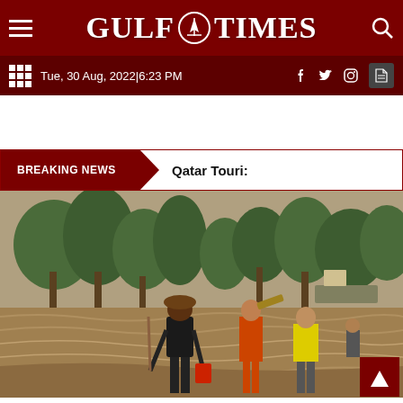GULF TIMES
Tue, 30 Aug, 2022|6:23 PM
BREAKING NEWS
Qatar Touri:
[Figure (photo): People wading through brown floodwaters with trees and flooded landscape in background. One person wearing a hat and carrying a red bag, others in the distance.]